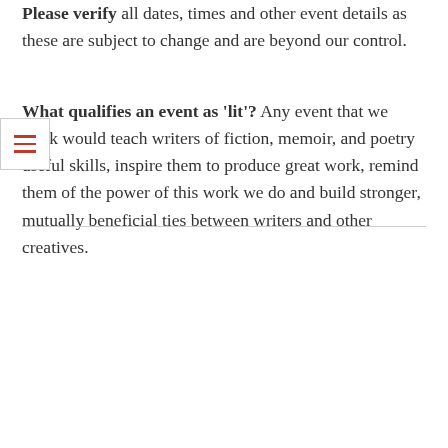Please verify all dates, times and other event details as these are subject to change and are beyond our control.
What qualifies an event as 'lit'? Any event that we think would teach writers of fiction, memoir, and poetry useful skills, inspire them to produce great work, remind them of the power of this work we do and build stronger, mutually beneficial ties between writers and other creatives.